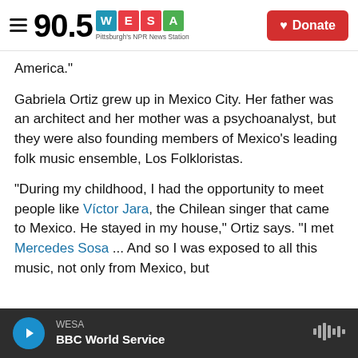90.5 WESA Pittsburgh's NPR News Station | Donate
America."
Gabriela Ortiz grew up in Mexico City. Her father was an architect and her mother was a psychoanalyst, but they were also founding members of Mexico's leading folk music ensemble, Los Folkloristas.
"During my childhood, I had the opportunity to meet people like Víctor Jara, the Chilean singer that came to Mexico. He stayed in my house," Ortiz says. "I met Mercedes Sosa ... And so I was exposed to all this music, not only from Mexico, but from
WESA | BBC World Service